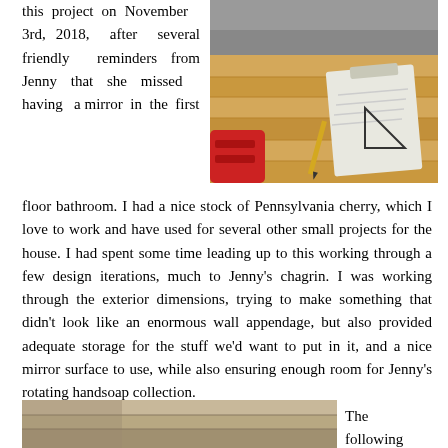this project on November 3rd, 2018, after several friendly reminders from Jenny that she missed having a mirror in the first
[Figure (photo): Wooden boards and lumber on a workbench with a clipboard, pencil, and marking tools resting on top.]
floor bathroom. I had a nice stock of Pennsylvania cherry, which I love to work and have used for several other small projects for the house. I had spent some time leading up to this working through a few design iterations, much to Jenny’s chagrin. I was working through the exterior dimensions, trying to make something that didn’t look like an enormous wall appendage, but also provided adequate storage for the stuff we’d want to put in it, and a nice mirror surface to use, while also ensuring enough room for Jenny’s rotating handsoap collection.
[Figure (photo): Partial view of another woodworking or project photo at the bottom of the page.]
The following